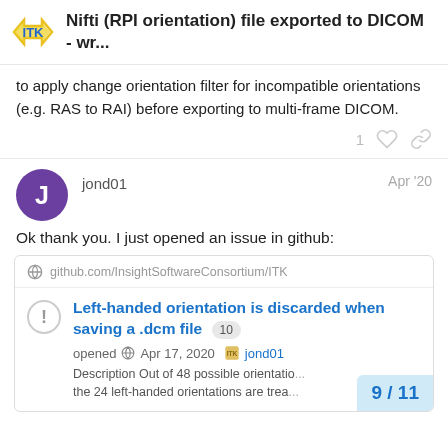Nifti (RPI orientation) file exported to DICOM - wr...
to apply change orientation filter for incompatible orientations (e.g. RAS to RAI) before exporting to multi-frame DICOM.
jond01  Apr '20
Ok thank you. I just opened an issue in github:
[Figure (screenshot): GitHub issue card showing: github.com/InsightSoftwareConsortium/ITK, issue titled 'Left-handed orientation is discarded when saving a .dcm file' with 10 comments, opened Apr 17, 2020 by jond01. Description: 'Out of 48 possible orientatio... the 24 left-handed orientations are trea...']
9 / 11